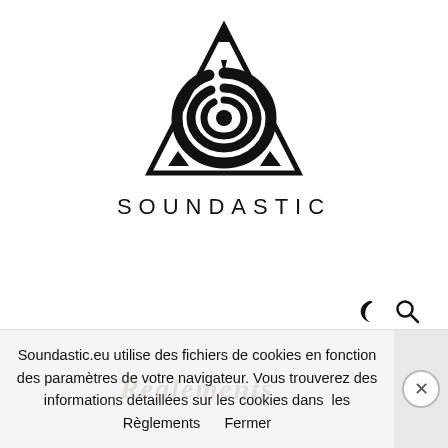[Figure (logo): Soundastic logo: a triangle with a spiral/swirl shape inside and three small triangles at the base corners, with the brand name SOUNDASTIC below in spaced capitals.]
[Figure (other): Dark mode (crescent moon) icon and search (magnifying glass) icon in the top right area.]
[Figure (other): Downward chevron/arrow icon centered below the navigation area.]
Soundastic.eu utilise des fichiers de cookies en fonction des paramètres de votre navigateur. Vous trouverez des informations détaillées sur les cookies dans  les Règlements     Fermer